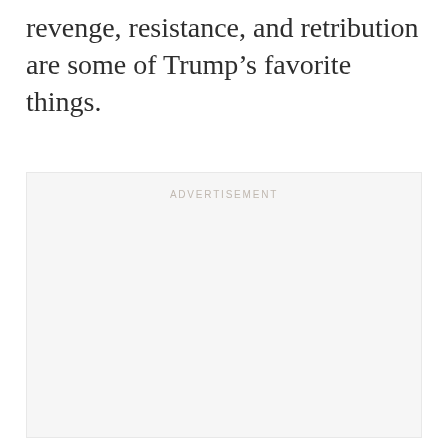revenge, resistance, and retribution are some of Trump’s favorite things.
[Figure (other): Advertisement placeholder box with 'ADVERTISEMENT' label at top center]